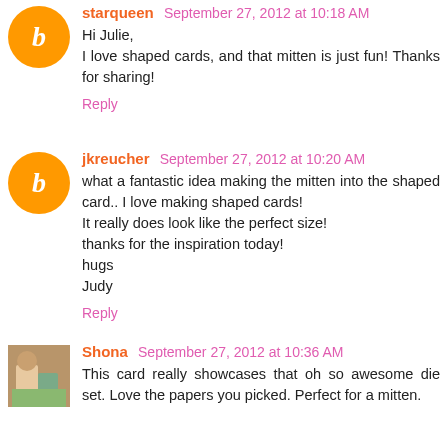starqueen September 27, 2012 at 10:18 AM
Hi Julie,
I love shaped cards, and that mitten is just fun! Thanks for sharing!
Reply
jkreucher September 27, 2012 at 10:20 AM
what a fantastic idea making the mitten into the shaped card.. I love making shaped cards!
It really does look like the perfect size!
thanks for the inspiration today!
hugs
Judy
Reply
Shona September 27, 2012 at 10:36 AM
This card really showcases that oh so awesome die set. Love the papers you picked. Perfect for a mitten.